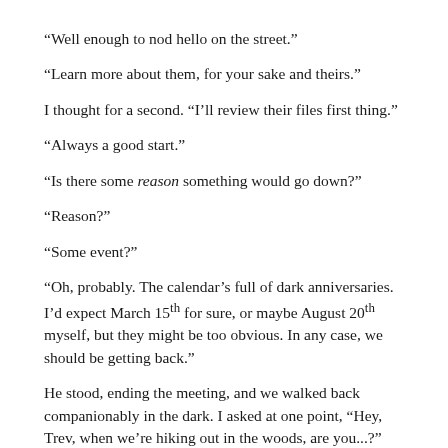“Well enough to nod hello on the street.”
“Learn more about them, for your sake and theirs.”
I thought for a second. “I’ll review their files first thing.”
“Always a good start.”
“Is there some reason something would go down?”
“Reason?”
“Some event?”
“Oh, probably. The calendar’s full of dark anniversaries. I’d expect March 15th for sure, or maybe August 20th myself, but they might be too obvious. In any case, we should be getting back.”
He stood, ending the meeting, and we walked back companionably in the dark. I asked at one point, “Hey, Trev, when we’re hiking out in the woods, are you...?”
“To the teeth.”